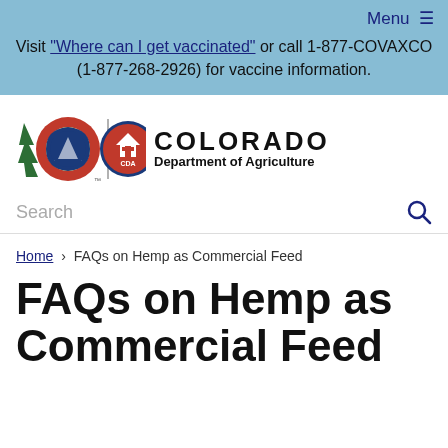Menu ≡
Visit "Where can I get vaccinated" or call 1-877-COVAXCO (1-877-268-2926) for vaccine information.
[Figure (logo): Colorado Department of Agriculture logo with Colorado C symbol, CDA badge, and text COLORADO Department of Agriculture]
Search
Home › FAQs on Hemp as Commercial Feed
FAQs on Hemp as Commercial Feed